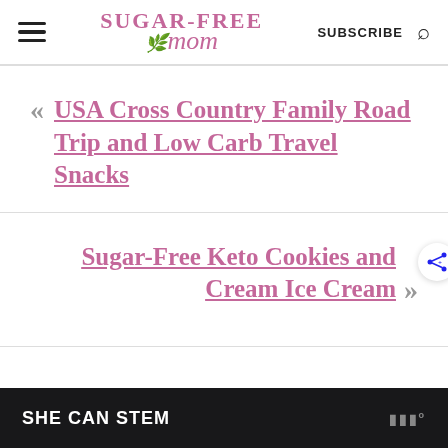SUGAR-FREE mom
« USA Cross Country Family Family Road Trip and Low Carb Travel Snacks
Sugar-Free Keto Cookies and Cream Ice Cream »
SHE CAN STEM